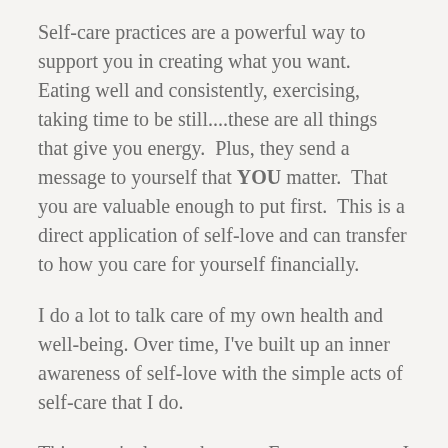Self-care practices are a powerful way to support you in creating what you want.  Eating well and consistently, exercising, taking time to be still....these are all things that give you energy.  Plus, they send a message to yourself that YOU matter.  That you are valuable enough to put first.  This is a direct application of self-love and can transfer to how you care for yourself financially.
I do a lot to talk care of my own health and well-being. Over time, I've built up an inner awareness of self-love with the simple acts of self-care that I do.
This wasn't always the case. For many years, I had deep challenges with nurturing myself.  I had an eating disorder for years, stopping only in my 30s.  Even now, I watch myself engage in behavior that